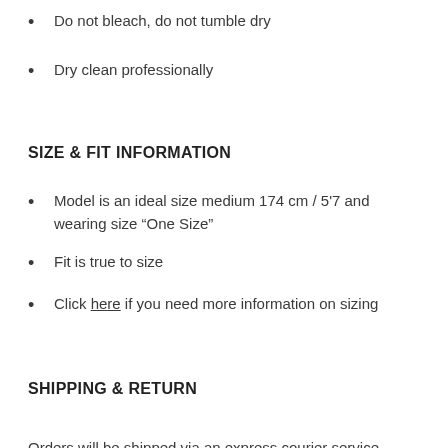Do not bleach, do not tumble dry
Dry clean professionally
SIZE & FIT INFORMATION
Model is an ideal size medium 174 cm / 5'7 and wearing size “One Size”
Fit is true to size
Click here if you need more information on sizing
SHIPPING & RETURN
Orders will be shipped via an express courier service, please allow 0-5 business days to produce and 7-10 business days to